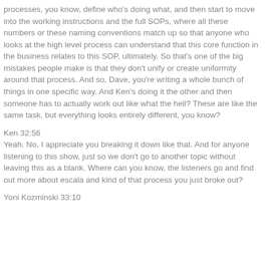processes, you know, define who's doing what, and then start to move into the working instructions and the full SOPs, where all these numbers or these naming conventions match up so that anyone who looks at the high level process can understand that this core function in the business relates to this SOP, ultimately. So that's one of the big mistakes people make is that they don't unify or create uniformity around that process. And so, Dave, you're writing a whole bunch of things in one specific way. And Ken's doing it the other and then someone has to actually work out like what the hell? These are like the same task, but everything looks entirely different, you know?
Ken 32:56
Yeah. No, I appreciate you breaking it down like that. And for anyone listening to this show, just so we don't go to another topic without leaving this as a blank. Where can you know, the listeners go and find out more about escala and kind of that process you just broke out?
Yoni Kozminski 33:10